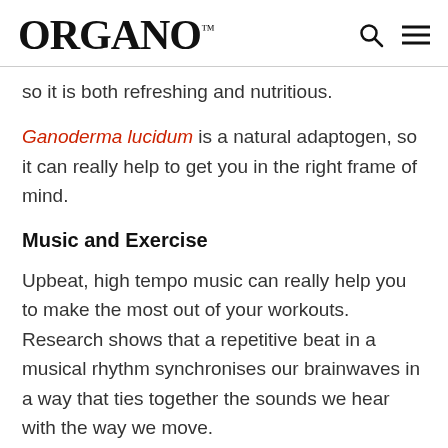ORGANO™
so it is both refreshing and nutritious.
Ganoderma lucidum is a natural adaptogen, so it can really help to get you in the right frame of mind.
Music and Exercise
Upbeat, high tempo music can really help you to make the most out of your workouts. Research shows that a repetitive beat in a musical rhythm synchronises our brainwaves in a way that ties together the sounds we hear with the way we move.
The co-ordination of repetitive muscle movements can become more efficient by matching these movements to a